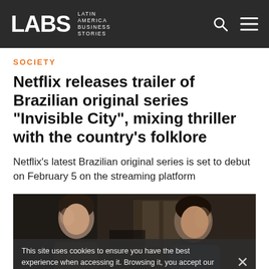LABS — Latin America Business Stories
SOCIETY
Netflix releases trailer of Brazilian original series "Invisible City", mixing thriller with the country's folklore
Netflix's latest Brazilian original series is set to debut on February 5 on the streaming platform
[Figure (photo): Two men facing each other in a dimly lit interior scene, likely a still from the Netflix series Invisible City]
This site uses cookies to ensure you have the best experience when accessing it. Browsing it, you accept our cookies policy.